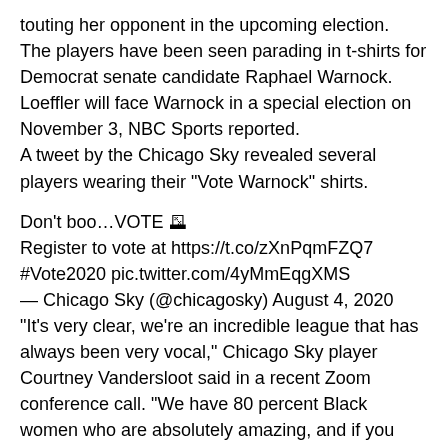touting her opponent in the upcoming election. The players have been seen parading in t-shirts for Democrat senate candidate Raphael Warnock. Loeffler will face Warnock in a special election on November 3, NBC Sports reported. A tweet by the Chicago Sky revealed several players wearing their "Vote Warnock" shirts.
Don't boo…VOTE 🗳️ Register to vote at https://t.co/zXnPqmFZQ7 #Vote2020 pic.twitter.com/4yMmEqgXMS — Chicago Sky (@chicagosky) August 4, 2020 "It's very clear, we're an incredible league that has always been very vocal," Chicago Sky player Courtney Vandersloot said in a recent Zoom conference call. "We have 80 percent Black women who are absolutely amazing, and if you feel so strongly about them, why are you even associated with the WNBA? That part I don't understand. We don't need you. And